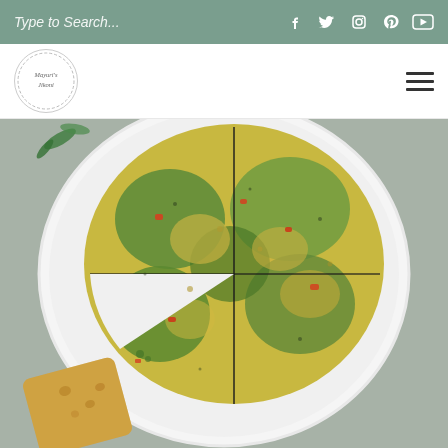Type to Search...
[Figure (logo): Mayuri's Jikoni circular logo with decorative border and cursive text]
[Figure (photo): Overhead view of a vegetable frittata cut into quarters on a white plate, served with toast, on a grey surface with herb garnish]